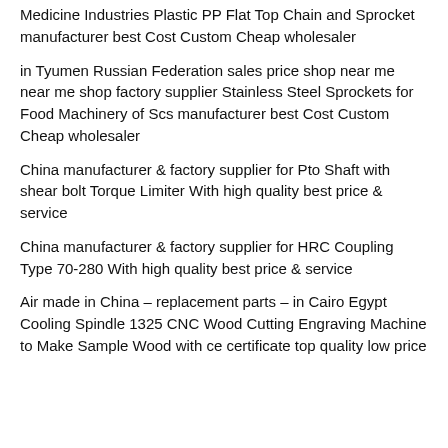Medicine Industries Plastic PP Flat Top Chain and Sprocket manufacturer best Cost Custom Cheap wholesaler
in Tyumen Russian Federation sales price shop near me near me shop factory supplier Stainless Steel Sprockets for Food Machinery of Scs manufacturer best Cost Custom Cheap wholesaler
China manufacturer & factory supplier for Pto Shaft with shear bolt Torque Limiter With high quality best price & service
China manufacturer & factory supplier for HRC Coupling Type 70-280 With high quality best price & service
Air made in China – replacement parts – in Cairo Egypt Cooling Spindle 1325 CNC Wood Cutting Engraving Machine to Make Sample Wood with ce certificate top quality low price